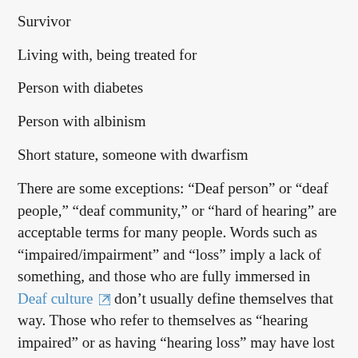Survivor
Living with, being treated for
Person with diabetes
Person with albinism
Short stature, someone with dwarfism
There are some exceptions: “Deaf person” or “deaf people,” “deaf community,” or “hard of hearing” are acceptable terms for many people. Words such as “impaired/impairment” and “loss” imply a lack of something, and those who are fully immersed in Deaf culture don’t usually define themselves that way. Those who refer to themselves as “hearing impaired” or as having “hearing loss” may have lost their